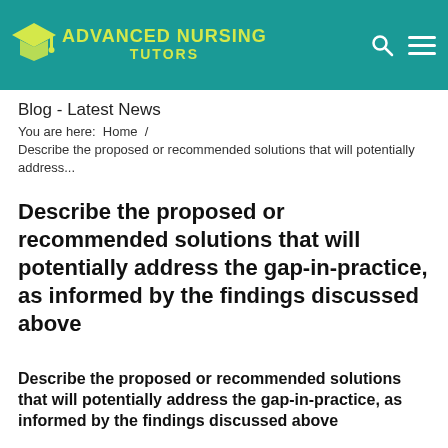[Figure (logo): Advanced Nursing Tutors logo with graduation cap icon on teal header background, with search and menu icons on right]
Blog - Latest News
You are here:  Home  /  Describe the proposed or recommended solutions that will potentially address...
Describe the proposed or recommended solutions that will potentially address the gap-in-practice, as informed by the findings discussed above
Describe the proposed or recommended solutions that will potentially address the gap-in-practice, as informed by the findings discussed above